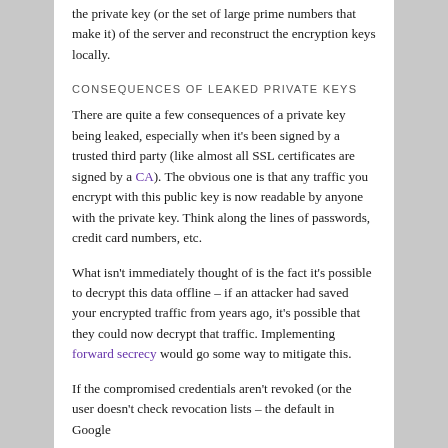the private key (or the set of large prime numbers that make it) of the server and reconstruct the encryption keys locally.
CONSEQUENCES OF LEAKED PRIVATE KEYS
There are quite a few consequences of a private key being leaked, especially when it's been signed by a trusted third party (like almost all SSL certificates are signed by a CA). The obvious one is that any traffic you encrypt with this public key is now readable by anyone with the private key. Think along the lines of passwords, credit card numbers, etc.
What isn't immediately thought of is the fact it's possible to decrypt this data offline – if an attacker had saved your encrypted traffic from years ago, it's possible that they could now decrypt that traffic. Implementing forward secrecy would go some way to mitigate this.
If the compromised credentials aren't revoked (or the user doesn't check revocation lists – the default in Google